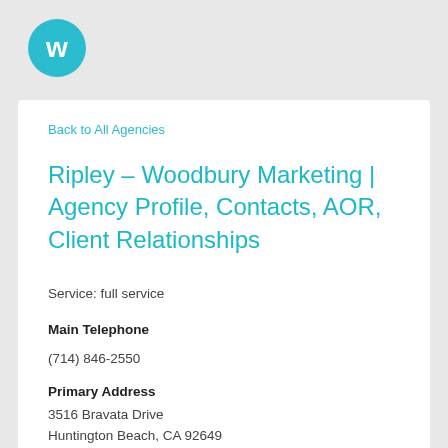[Figure (logo): Winmo logo — teal circle with white stylized W letter mark]
Back to All Agencies
Ripley – Woodbury Marketing | Agency Profile, Contacts, AOR, Client Relationships
Service: full service
Main Telephone
(714) 846-2550
Primary Address
3516 Bravata Drive
Huntington Beach, CA 92649